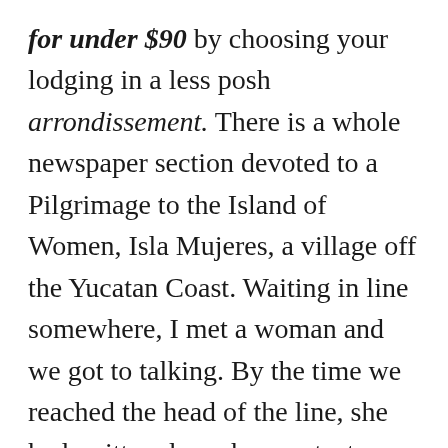for under $90 by choosing your lodging in a less posh arrondissement. There is a whole newspaper section devoted to a Pilgrimage to the Island of Women, Isla Mujeres, a village off the Yucatan Coast. Waiting in line somewhere, I met a woman and we got to talking. By the time we reached the head of the line, she had written down her contact information and invited me to her retreat place, Gypsy's by the Sea in Todos Santos...I wonder if she's still there. Sifting through these articles, I am transported. Imagination is a great